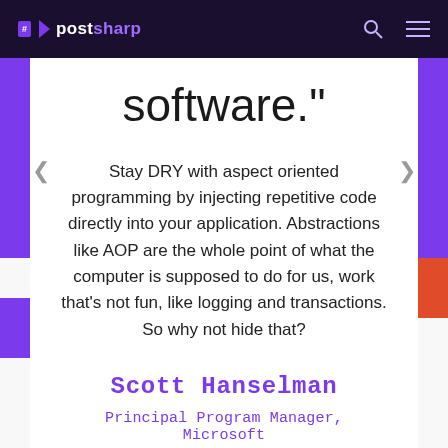postsharp
software."
Stay DRY with aspect oriented programming by injecting repetitive code directly into your application. Abstractions like AOP are the whole point of what the computer is supposed to do for us, work that's not fun, like logging and transactions. So why not hide that?
Scott Hanselman
Principal Program Manager, Microsoft